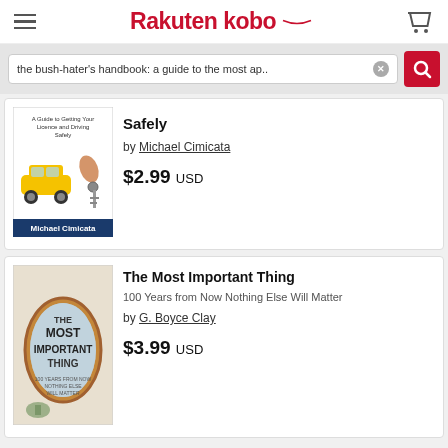Rakuten kobo
the bush-hater's handbook: a guide to the most ap..
[Figure (photo): Book cover: A Guide to Getting Your Licence and Driving Safely by Michael Cimicata. Shows a yellow car and car keys being handed over.]
Safely
by Michael Cimicata
$2.99 USD
[Figure (photo): Book cover: The Most Important Thing - 100 Years from Now Nothing Else Will Matter by G. Boyce Clay. Shows an oval mirror with text.]
The Most Important Thing
100 Years from Now Nothing Else Will Matter
by G. Boyce Clay
$3.99 USD